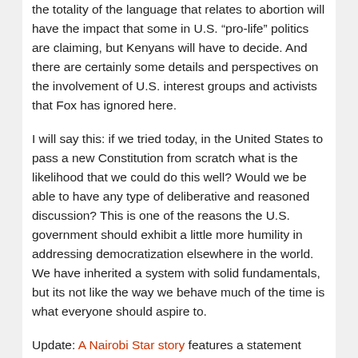the totality of the language that relates to abortion will have the impact that some in U.S. “pro-life” politics are claiming, but Kenyans will have to decide. And there are certainly some details and perspectives on the involvement of U.S. interest groups and activists that Fox has ignored here.
I will say this: if we tried today, in the United States to pass a new Constitution from scratch what is the likelihood that we could do this well? Would we be able to have any type of deliberative and reasoned discussion? This is one of the reasons the U.S. government should exhibit a little more humility in addressing democratization elsewhere in the world. We have inherited a system with solid fundamentals, but its not like the way we behave much of the time is what everyone should aspire to.
Update: A Nairobi Star story features a statement from Ambassador Ranneberger reiterating that his approach is sanctioned by the President and that he is not worried about a few critics attacking him.